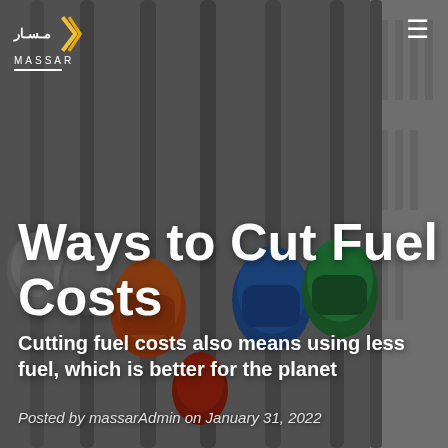[Figure (photo): Close-up photo of multiple colorful fuel pump nozzles (grey, orange, blue, green) hanging at a gas station, blurred background with grey structures.]
MASSAR (logo with Arabic text and yellow chevron) and hamburger menu icon
Ways to Cut Fuel Costs
Cutting fuel costs also means using less fuel, which is better for the planet
Posted by massarAdmin on January 31, 2022